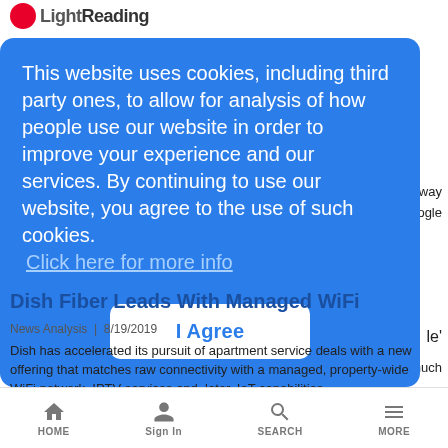LightReading
This website uses cookies, including third party ones, to allow for analysis of how people use our website in order to improve your experience and our services. By continuing to use our website, you agree to the use of such cookies.
Click here for more info
I Agree
Beltway
 Google
 le'
much
Dish Fiber Leads With Managed WiFi
News Analysis | 8/19/2019
Dish has accelerated its pursuit of apartment service deals with a new offering that matches raw connectivity with a managed, property-wide WiFi network, IPTV services and, later, IoT capabilities.
HOME  Sign In  SEARCH  MORE